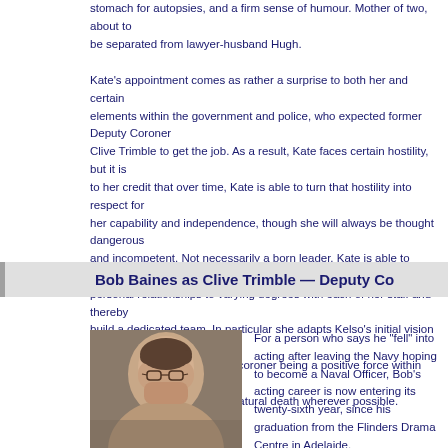stomach for autopsies, and a firm sense of humour. Mother of two, about to be separated from lawyer-husband Hugh.
Kate's appointment comes as rather a surprise to both her and certain elements within the government and police, who expected former Deputy Coroner Clive Trimble to get the job. As a result, Kate faces certain hostility, but it is to her credit that over time, Kate is able to turn that hostility into respect for her capability and independence, though she will always be thought dangerous and incompetent. Not necessarily a born leader, Kate is able to develop personal relationships to varying degrees with each of her staff and thereby build a dedicated team. In particular she adapts Kelso's initial vision and makes it become her own — that of a coroner being a positive force within society to reduce unnecessary and unnatural death wherever possible.
Bob Baines as Clive Trimble — Deputy Co...
[Figure (photo): Headshot photo of Bob Baines as Clive Trimble, middle-aged man with glasses]
For a person who says he "fell" into acting after leaving the Navy hoping to become a Naval Officer, Bob's acting career is now entering its twenty-sixth year, since his graduation from the Flinders Drama Centre in Adelaide.